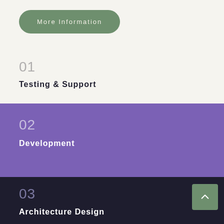More Information
01
Testing & Support
02
Development
03
Architecture Design